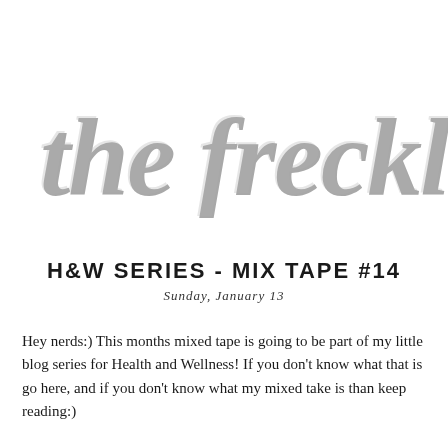[Figure (logo): Handwritten script logo reading 'the freckle' in large gray brush lettering, partially cropped on the right]
H&W SERIES - MIX TAPE #14
Sunday, January 13
Hey nerds:) This months mixed tape is going to be part of my little blog series for Health and Wellness! If you don't know what that is go here, and if you don't know what my mixed take is than keep reading:)